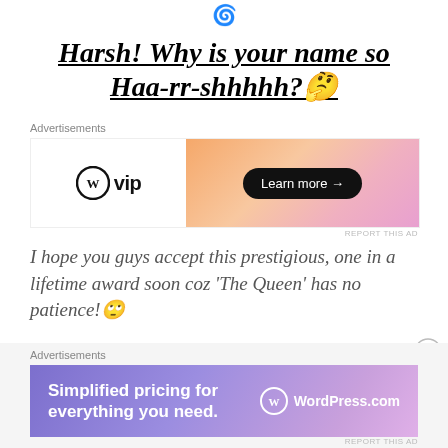[Figure (illustration): Small circular icon at top center]
Harsh! Why is your name so Haa-rr-shhhhh?🤔
Advertisements
[Figure (other): WordPress VIP advertisement banner with Learn more button on gradient background]
REPORT THIS AD
I hope you guys accept this prestigious, one in a lifetime award soon coz 'The Queen' has no patience!🙄
Advertisements
[Figure (other): WordPress.com advertisement banner: Simplified pricing for everything you need.]